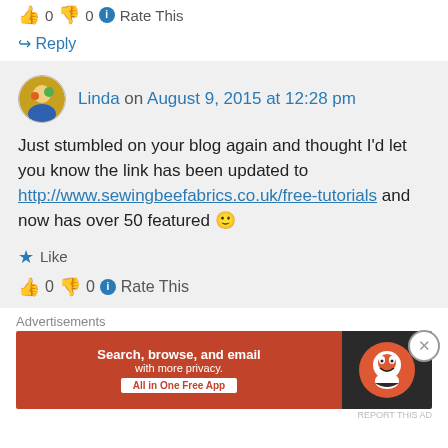👍 0 👎 0 ℹ Rate This
↪ Reply
Linda on August 9, 2015 at 12:28 pm
Just stumbled on your blog again and thought I'd let you know the link has been updated to http://www.sewingbeefabrics.co.uk/free-tutorials and now has over 50 featured 🙂
★ Like
👍 0 👎 0 ℹ Rate This
Advertisements
[Figure (other): DuckDuckGo advertisement banner: Search, browse, and email with more privacy. All in One Free App.]